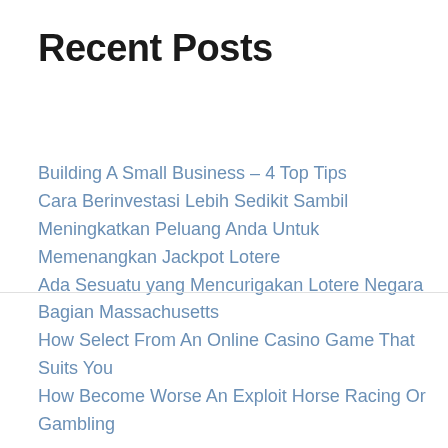Recent Posts
Building A Small Business – 4 Top Tips
Cara Berinvestasi Lebih Sedikit Sambil Meningkatkan Peluang Anda Untuk Memenangkan Jackpot Lotere
Ada Sesuatu yang Mencurigakan Lotere Negara Bagian Massachusetts
How Select From An Online Casino Game That Suits You
How Become Worse An Exploit Horse Racing Or Gambling